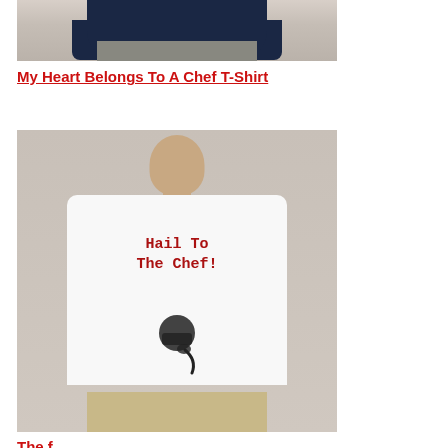[Figure (photo): A man wearing a navy blue t-shirt and grey pants, cropped to show torso and arms only, on a beige/taupe background]
My Heart Belongs To A Chef T-Shirt
[Figure (photo): A man wearing a white t-shirt that reads 'Hail To The Chef!' with a chef hat and ladle graphic, wearing khaki pants, on a beige background]
The f... T-shirt (partially visible)